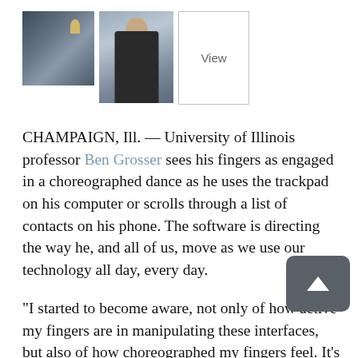[Figure (photo): Two thumbnail photos side by side: left shows a dimly lit room scene, right shows a man standing giving a presentation. A 'View' button box is to the right of the photos.]
CHAMPAIGN, Ill. — University of Illinois professor Ben Grosser sees his fingers as engaged in a choreographed dance as he uses the trackpad on his computer or scrolls through a list of contacts on his phone. The software is directing the way he, and all of us, move as we use our technology all day, every day.
“I started to become aware, not only of how active my fingers are in manipulating these interfaces, but also of how choreographed my fingers feel. It’s a set of movements. It feels like I’m being driven, as much as I’m driving,” said Grosser, a professor of new media in the School of Art and Design and a researcher with the National Center for Supercomputing Applications, where